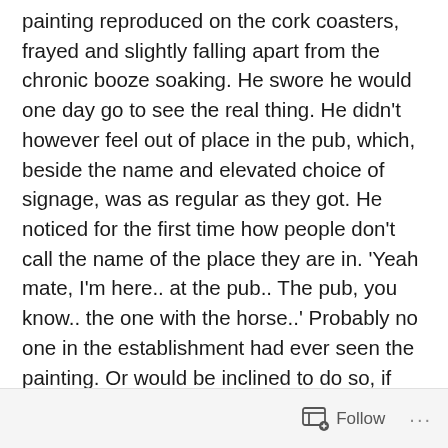painting reproduced on the cork coasters, frayed and slightly falling apart from the chronic booze soaking. He swore he would one day go to see the real thing. He didn't however feel out of place in the pub, which, beside the name and elevated choice of signage, was as regular as they got. He noticed for the first time how people don't call the name of the place they are in. 'Yeah mate, I'm here.. at the pub.. The pub, you know.. the one with the horse..' Probably no one in the establishment had ever seen the painting. Or would be inclined to do so, if told where to find it. He fell into thought, squinting to study the colours of the hair, the eyes, the subtle gradation in the background, things he could see on the coaster reproduction mostly due to the creativity-inducing properties of alcohol. He finished his first pint of IPA in less than 5 minutes. He was in line for the second one
Follow ···